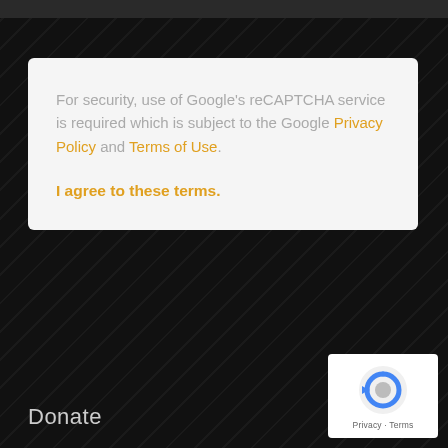For security, use of Google's reCAPTCHA service is required which is subject to the Google Privacy Policy and Terms of Use.
I agree to these terms.
Post Comment
Donate
[Figure (logo): reCAPTCHA badge with robot icon and Privacy · Terms text]